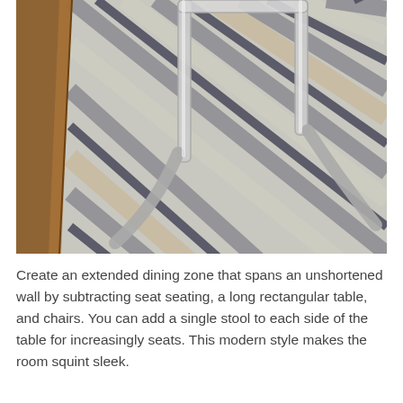[Figure (photo): Close-up photo of a striped rug with diagonal grey, white, and tan stripes, with chrome/metal chair legs visible on top of the rug. A wooden floor or table edge is visible on the left side.]
Create an extended dining zone that spans an unshortened wall by subtracting seat seating, a long rectangular table, and chairs. You can add a single stool to each side of the table for increasingly seats. This modern style makes the room squint sleek.